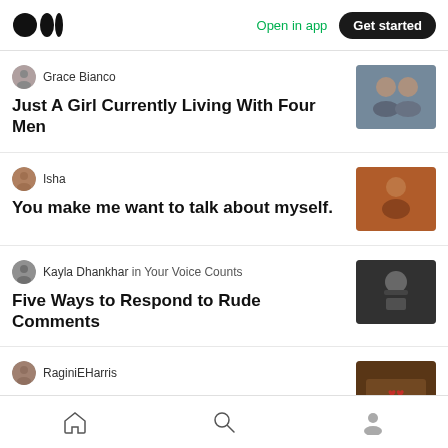Medium logo | Open in app | Get started
Grace Bianco
Just A Girl Currently Living With Four Men
[Figure (photo): Couple selfie photo thumbnail]
Isha
You make me want to talk about myself.
[Figure (photo): Couple embracing in warm tones thumbnail]
Kayla Dhankhar in Your Voice Counts
Five Ways to Respond to Rude Comments
[Figure (photo): Person covering ears thumbnail]
RaginiEHarris
Proven Ways To Make Partner Love You Forever
[Figure (photo): Wooden sign with hearts thumbnail]
Home | Search | Profile